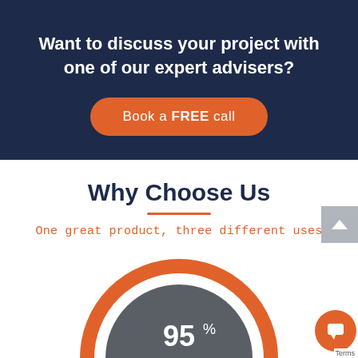Want to discuss your project with one of our expert advisers?
Book a FREE call
Why Choose Us
One great product, three different uses
[Figure (donut-chart): Partial donut chart showing 95% with orange arc on dark grey circle background]